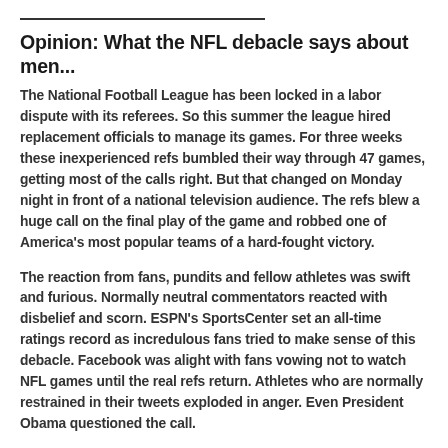Opinion: What the NFL debacle says about men...
The National Football League has been locked in a labor dispute with its referees. So this summer the league hired replacement officials to manage its games. For three weeks these inexperienced refs bumbled their way through 47 games, getting most of the calls right. But that changed on Monday night in front of a national television audience. The refs blew a huge call on the final play of the game and robbed one of America's most popular teams of a hard-fought victory.
The reaction from fans, pundits and fellow athletes was swift and furious. Normally neutral commentators reacted with disbelief and scorn. ESPN's SportsCenter set an all-time ratings record as incredulous fans tried to make sense of this debacle. Facebook was alight with fans vowing not to watch NFL games until the real refs return. Athletes who are normally restrained in their tweets exploded in anger. Even President Obama questioned the call.